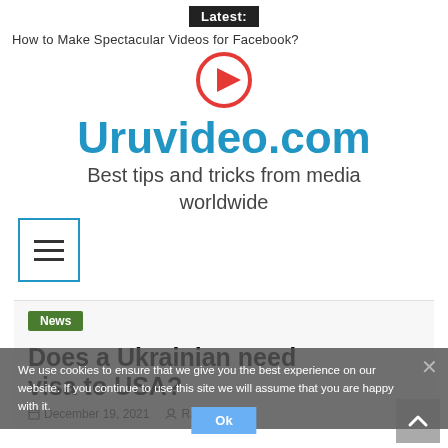Latest:
How to Make Spectacular Videos for Facebook?
[Figure (logo): Uruvideo.com logo with red play button circle icon, site title 'Uruvideo.com' in teal/blue, subtitle 'Best tips and tricks from media worldwide']
[Figure (other): Hamburger menu button (three horizontal lines) inside a blue-outlined square]
News
Does a Ukrainian need visa to USA?
December 19, 2021   Raymond
We use cookies to ensure that we give you the best experience on our website. If you continue to use this site we will assume that you are happy with it.